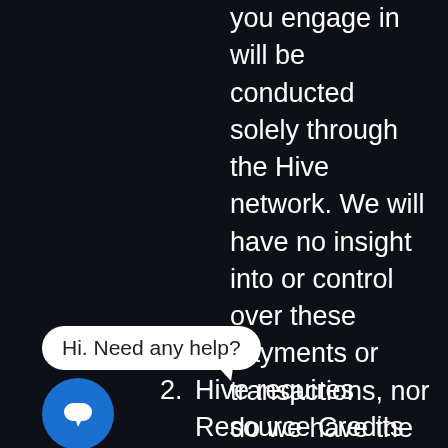you engage in will be conducted solely through the Hive network. We will have no insight into or control over these payments or transactions, nor do we have the ability to reverse any transactions. You agree we have no liability to you or to any third party for any claims or damages that may arise as a result of any transactions that you engage in via the App or any other transactions that you conduct live or other blockchain networks.
[Figure (screenshot): Chat support bubble showing 'Hi. Need any help?' with a blue chat icon button below it]
2. Hive requires Resource Credits for every transaction that occurs on the Hive network. This means that you